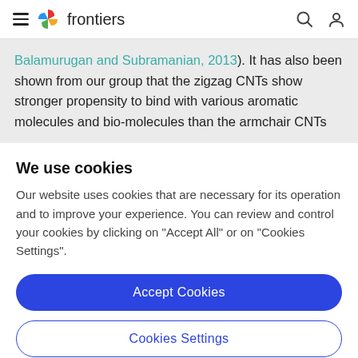frontiers
Balamurugan and Subramanian, 2013). It has also been shown from our group that the zigzag CNTs show stronger propensity to bind with various aromatic molecules and bio-molecules than the armchair CNTs
We use cookies
Our website uses cookies that are necessary for its operation and to improve your experience. You can review and control your cookies by clicking on "Accept All" or on "Cookies Settings".
Accept Cookies
Cookies Settings